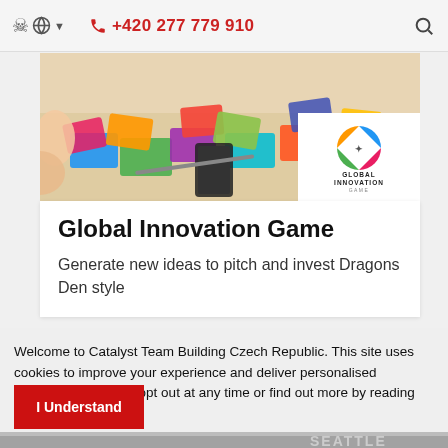🌐 ▾   📞 +420 277 779 910   🔍
[Figure (photo): Photo of people at a table with colorful innovation game cards, with Global Innovation Game logo overlay in the bottom right corner]
Global Innovation Game
Generate new ideas to pitch and invest Dragons Den style
Welcome to Catalyst Team Building Czech Republic. This site uses cookies to improve your experience and deliver personalised advertising. You can opt out at any time or find out more by reading our cookie policy.
I Understand
[Figure (photo): Partial bottom image, possibly another team building photo with SEATTLE text watermark visible]